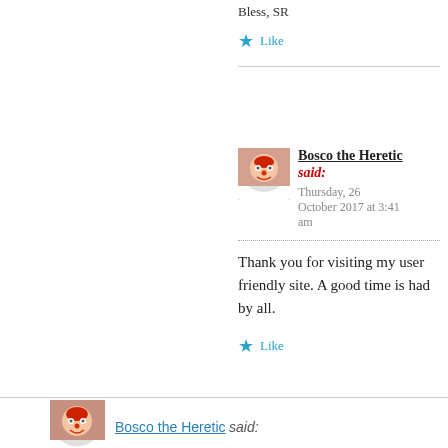Bless, SR
Like
Bosco the Heretic said:
Thursday, 26 October 2017 at 3:41 am
Thank you for visiting my user friendly site. A good time is had by all.
Like
Bosco the Heretic said:
Tuesday, 24 October 2017 at 3:38 am